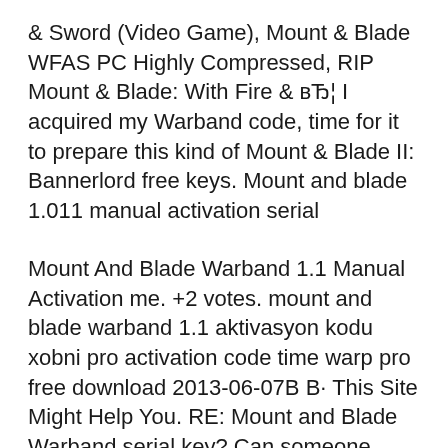& Sword (Video Game), Mount & Blade WFAS PC Highly Compressed, RIP Mount & Blade: With Fire & вЂ¦ I acquired my Warband code, time for it to prepare this kind of Mount & Blade II: Bannerlord free keys. Mount and blade 1.011 manual activation serial
Mount And Blade Warband 1.1 Manual Activation me. +2 votes. mount and blade warband 1.1 aktivasyon kodu xobni pro activation code time warp pro free download 2013-06-07В В· This Site Might Help You. RE: Mount and Blade Warband serial key? Can someone please send me his Warband serial key вЂ¦